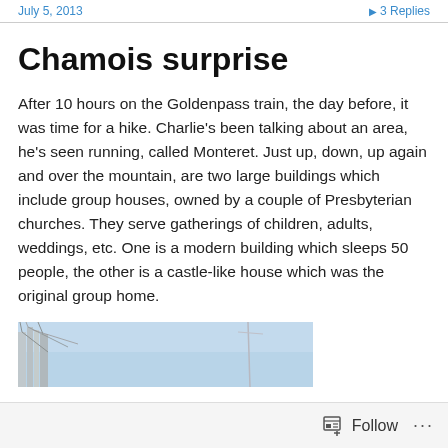July 5, 2013    3 Replies
Chamois surprise
After 10 hours on the Goldenpass train, the day before, it was time for a hike. Charlie's been talking about an area, he's seen running, called Monteret. Just up, down, up again and over the mountain, are two large buildings which include group houses, owned by a couple of Presbyterian churches. They serve gatherings of children, adults, weddings, etc. One is a modern building which sleeps 50 people, the other is a castle-like house which was the original group home.
[Figure (photo): Partial photo of trees and blue sky, partially visible at bottom of page]
Follow  ...